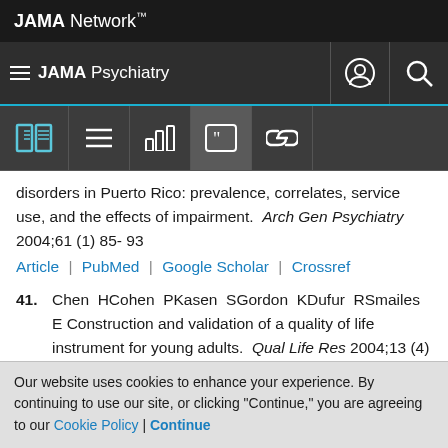JAMA Network
JAMA Psychiatry
disorders in Puerto Rico: prevalence, correlates, service use, and the effects of impairment. Arch Gen Psychiatry 2004;61 (1) 85- 93
Article | PubMed | Google Scholar | Crossref
41. Chen HCohen PKasen SGordon KDufur RSmailes E Construction and validation of a quality of life instrument for young adults. Qual Life Res 2004;13 (4) 747- 759
Our website uses cookies to enhance your experience. By continuing to use our site, or clicking "Continue," you are agreeing to our Cookie Policy | Continue